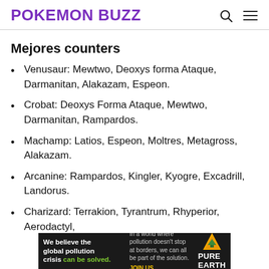POKEMON BUZZ
Mejores counters
Venusaur: Mewtwo, Deoxys forma Ataque, Darmanitan, Alakazam, Espeon.
Crobat: Deoxys Forma Ataque, Mewtwo, Darmanitan, Rampardos.
Machamp: Latios, Espeon, Moltres, Metagross, Alakazam.
Arcanine: Rampardos, Kingler, Kyogre, Excadrill, Landorus.
Charizard: Terrakion, Tyrantrum, Rhyperior, Aerodactyl,
[Figure (other): Pure Earth advertisement banner: 'We believe the global pollution crisis can be solved.' with Pure Earth logo]